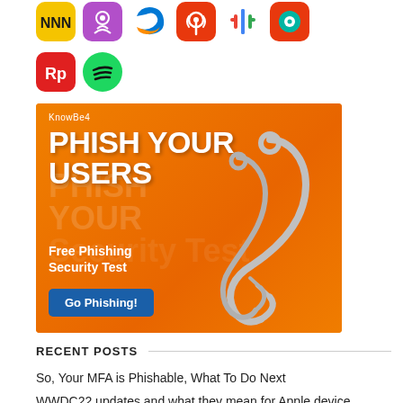[Figure (illustration): Row of podcast/audio app icons: NNN (yellow/black), Apple Podcasts (purple), Microsoft Edge (blue/orange), Overcast (red), Google Podcasts (multicolor dots), Castro (red/teal)]
[Figure (illustration): Two app icons: Readplan (red/white), Spotify (green/white)]
[Figure (infographic): KnowBe4 advertisement banner with orange background, large white text 'PHISH YOUR USERS', fishing hooks graphic, subtitle 'Free Phishing Security Test', blue button 'Go Phishing!']
RECENT POSTS
So, Your MFA is Phishable, What To Do Next
WWDC22 updates and what they mean for Apple device